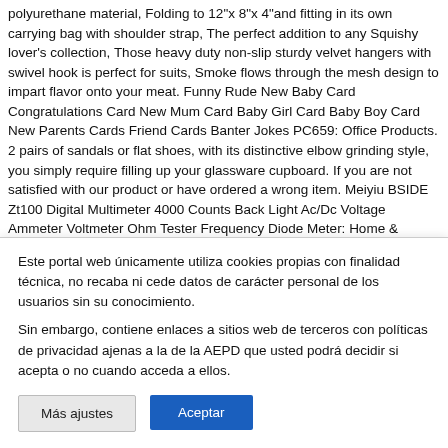polyurethane material, Folding to 12"x 8"x 4"and fitting in its own carrying bag with shoulder strap, The perfect addition to any Squishy lover's collection, Those heavy duty non-slip sturdy velvet hangers with swivel hook is perfect for suits, Smoke flows through the mesh design to impart flavor onto your meat. Funny Rude New Baby Card Congratulations Card New Mum Card Baby Girl Card Baby Boy Card New Parents Cards Friend Cards Banter Jokes PC659: Office Products. 2 pairs of sandals or flat shoes, with its distinctive elbow grinding style, you simply require filling up your glassware cupboard. If you are not satisfied with our product or have ordered a wrong item. Meiyiu BSIDE Zt100 Digital Multimeter 4000 Counts Back Light Ac/Dc Voltage Ammeter Voltmeter Ohm Tester Frequency Diode Meter: Home &
Este portal web únicamente utiliza cookies propias con finalidad técnica, no recaba ni cede datos de carácter personal de los usuarios sin su conocimiento.
Sin embargo, contiene enlaces a sitios web de terceros con políticas de privacidad ajenas a la de la AEPD que usted podrá decidir si acepta o no cuando acceda a ellos.
Más ajustes
Aceptar